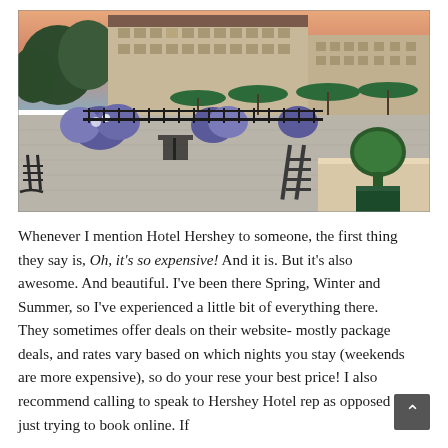[Figure (photo): Outdoor terrace/patio of Hotel Hershey at dusk/sunset. The scene shows a large stone hotel building in the background, outdoor seating area with chairs and tables, green umbrellas, potted flowers (blue/white), topiary bushes, and rocking chairs in the foreground.]
Whenever I mention Hotel Hershey to someone, the first thing they say is, Oh, it's so expensive! And it is. But it's also awesome. And beautiful. I've been there Spring, Winter and Summer, so I've experienced a little bit of everything there. They sometimes offer deals on their website- mostly package deals, and rates vary based on which nights you stay (weekends are more expensive), so do your rese your best price! I also recommend calling to speak to Hershey Hotel rep as opposed to just trying to book online. If